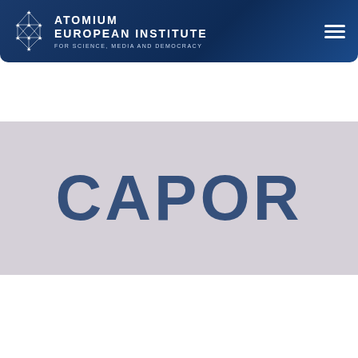[Figure (logo): Atomium European Institute for Science, Media and Democracy logo with atomium icon in top navigation header bar, with hamburger menu icon on the right]
[Figure (illustration): Partial large text 'CAPOR' or similar letters in dark blue on light gray background, partially cropped]
[Figure (logo): Atomium European Institute for Science, Media and Democracy full logo with large atomium icon on dark navy background footer]
24, Boulevard Louis Schmidt
1040 Brussels, Belgium